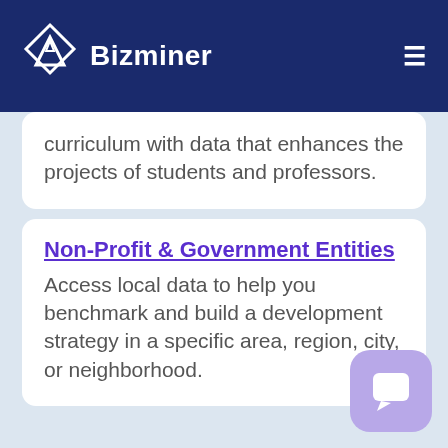Bizminer
curriculum with data that enhances the projects of students and professors.
Non-Profit & Government Entities
Access local data to help you benchmark and build a development strategy in a specific area, region, city, or neighborhood.